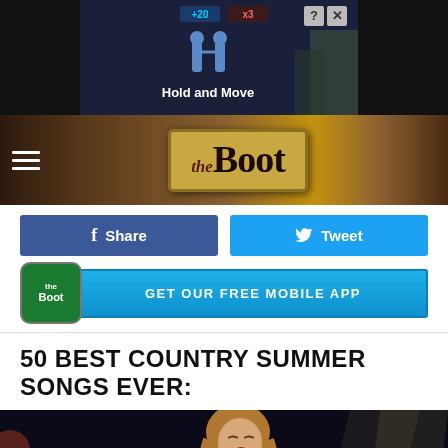[Figure (screenshot): Ad banner: 'Hold and Move' game ad with dark background, player icons, and close/question buttons]
[Figure (logo): The Boot website logo - cream/gold banner with 'the Boot' text in serif font]
[Figure (screenshot): Facebook Share button (blue) and Twitter Tweet button (light blue) side by side]
[Figure (screenshot): The Boot app icon with 'GET OUR FREE MOBILE APP' button in blue]
50 BEST COUNTRY SUMMER SONGS EVER:
[Figure (photo): Photo of a male performer (Keith Urban) singing into a microphone on stage with bokeh lights in background]